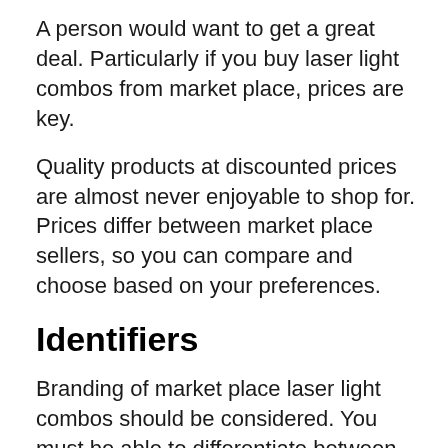A person would want to get a great deal. Particularly if you buy laser light combos from market place, prices are key.
Quality products at discounted prices are almost never enjoyable to shop for. Prices differ between market place sellers, so you can compare and choose based on your preferences.
Identifiers
Branding of market place laser light combos should be considered. You must be able to differentiate between different types of brands so that you can make the right choice.